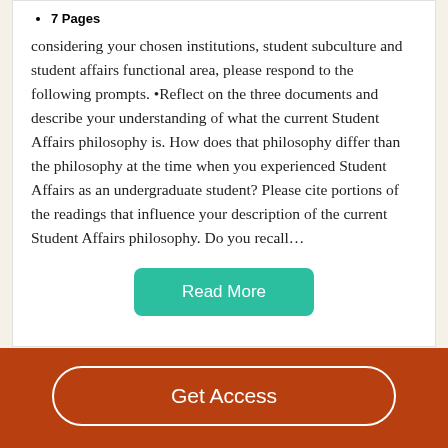7 Pages
considering your chosen institutions, student subculture and student affairs functional area, please respond to the following prompts. •Reflect on the three documents and describe your understanding of what the current Student Affairs philosophy is. How does that philosophy differ than the philosophy at the time when you experienced Student Affairs as an undergraduate student? Please cite portions of the readings that influence your description of the current Student Affairs philosophy. Do you recall…
Read More
Decent Essays
Get Access